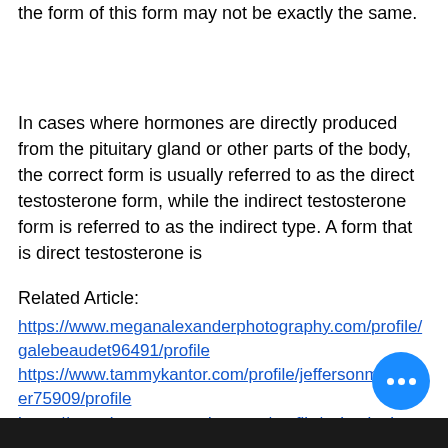the form of this form may not be exactly the same.
In cases where hormones are directly produced from the pituitary gland or other parts of the body, the correct form is usually referred to as the direct testosterone form, while the indirect testosterone form is referred to as the indirect type. A form that is direct testosterone is
Related Article:
https://www.meganalexanderphotography.com/profile/galebeaudet96491/profile
https://www.tammykantor.com/profile/jeffersonmoessner75909/profile
https://www.keratoconusdoc.com/profile/valentinekanahele171833/profile
https://www.takeawaytaxitonga.com/profile/illeneluse61408/profile